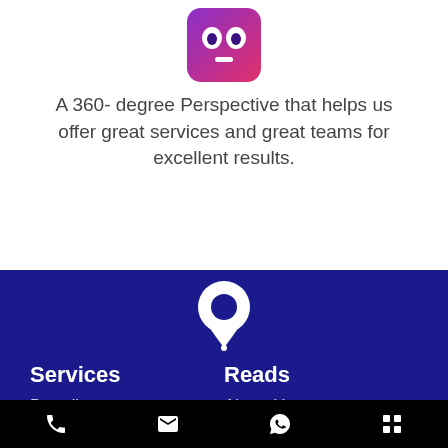[Figure (logo): Circular mascot/robot icon with gradient purple-pink background]
A 360- degree Perspective that helps us offer great services and great teams for excellent results.
[Figure (logo): White map pin / location marker icon on dark blue background]
Services
Branding
SEO
Design
Website Development
App Development
PPC
Reads
About Us
Global Work
Blogs
Privacy Policy
Phone | Email | WhatsApp | Menu